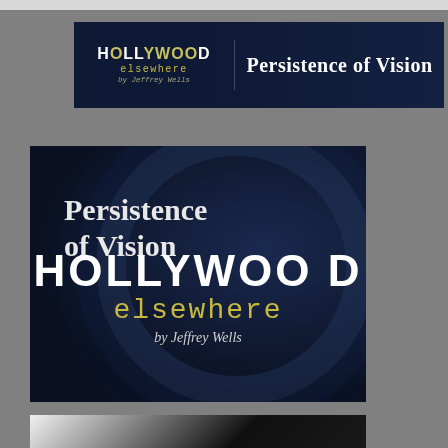[Figure (logo): Hollywood Elsewhere banner logo with text 'HOLLYWOOD elsewhere by Jeffrey Wells' on dark navy background, with 'Persistence of Vision' text on right side]
[Figure (illustration): Large square image on dark navy blue background showing 'Persistence of Vision' text in upper left in white serif font, and 'HOLLYWOOD elsewhere by Jeffrey Wells' branding in lower portion with Hollywood in large white bold capitals, elsewhere in yellow/gold courier font, and 'by Jeffrey Wells' in white italic serif]
[Figure (photo): Partial black and white photo visible at very bottom of page]